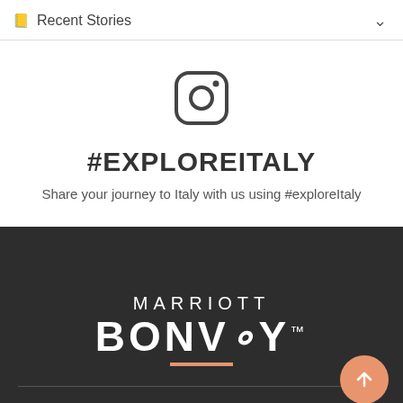📖 Recent Stories
[Figure (logo): Instagram icon/logo in outline style]
#EXPLOREITALY
Share your journey to Italy with us using #exploreitaly
[Figure (logo): Marriott Bonvoy logo with orange underline on dark background]
HOTEL RESERVATIONS